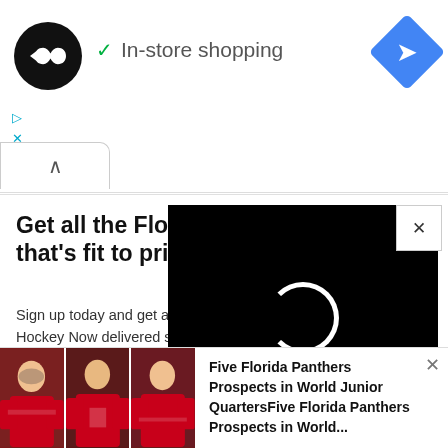[Figure (screenshot): Ad banner with a black circle logo with double-arrow icon, green checkmark and 'In-store shopping' text, and a blue navigation diamond icon on the right. Small cyan play and X controls below left.]
[Figure (screenshot): Collapse/minimize tab button with upward caret arrow]
Get all the Florida Pa
that's fit to print.
Sign up today and get all th
Hockey Now delivered strai
Email
SIGN UP!
ys
lee
[Figure (screenshot): Black video panel with circular loading spinner and X close button]
[Figure (photo): Three side-by-side photos of Florida Panthers hockey players in red jerseys on ice]
Five Florida Panthers Prospects in World Junior QuartersFive Florida Panthers Prospects in World...